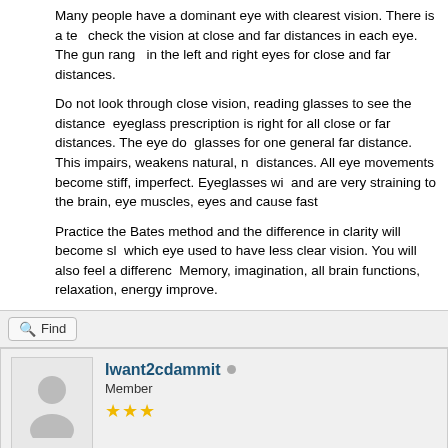Many people have a dominant eye with clearest vision. There is a test to check the vision at close and far distances in each eye. The gun range... in the left and right eyes for close and far distances.
Do not look through close vision, reading glasses to see the distance... eyeglass prescription is right for all close or far distances. The eye do... glasses for one general far distance. This impairs, weakens natural, n... distances. All eye movements become stiff, imperfect. Eyeglasses wi... and are very straining to the brain, eye muscles, eyes and cause fast...
Practice the Bates method and the difference in clarity will become sl... which eye used to have less clear vision. You will also feel a differenc... Memory, imagination, all brain functions, relaxation, energy improve.
[Figure (screenshot): Find button with magnifying glass icon]
Iwant2cdammit — Member, 3 stars rating
08-10-2012, 04:35 PM
Once again I am shocked with this amazing feedback. I must admit I...